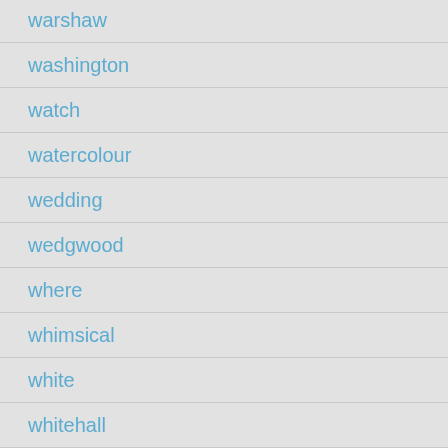warshaw
washington
watch
watercolour
wedding
wedgwood
where
whimsical
white
whitehall
wicked
wide
wilhelm